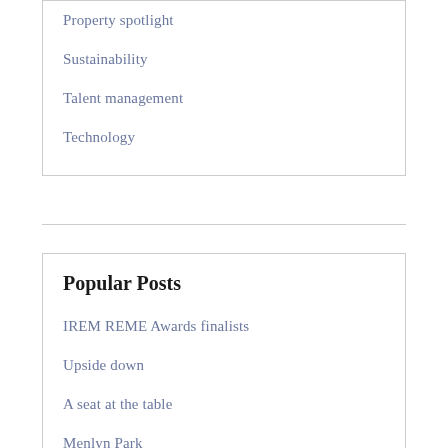Property spotlight
Sustainability
Talent management
Technology
Popular Posts
IREM REME Awards finalists
Upside down
A seat at the table
Menlyn Park